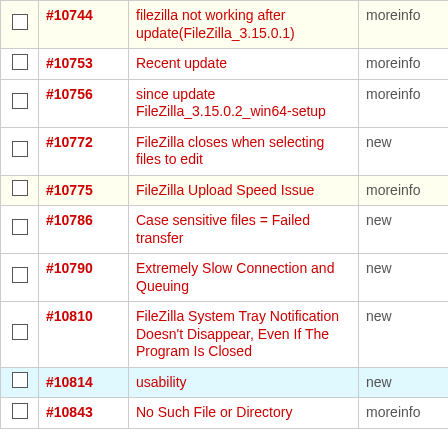|  | ID | Description | Status |
| --- | --- | --- | --- |
|  | #10744 | filezilla not working after update(FileZilla_3.15.0.1) | moreinfo |
|  | #10753 | Recent update | moreinfo |
|  | #10756 | since update FileZilla_3.15.0.2_win64-setup | moreinfo |
|  | #10772 | FileZilla closes when selecting files to edit | new |
|  | #10775 | FileZilla Upload Speed Issue | moreinfo |
|  | #10786 | Case sensitive files = Failed transfer | new |
|  | #10790 | Extremely Slow Connection and Queuing | new |
|  | #10810 | FileZilla System Tray Notification Doesn't Disappear, Even If The Program Is Closed | new |
|  | #10814 | usability | new |
|  | #10843 | No Such File or Directory | moreinfo |